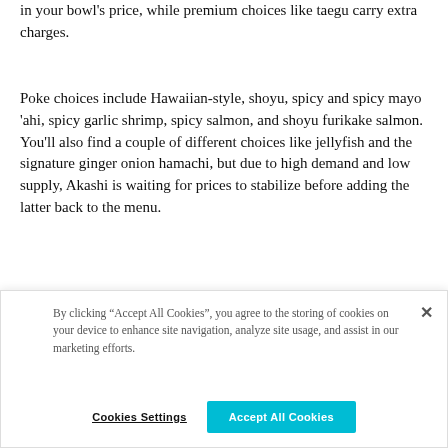in your bowl's price, while premium choices like taegu carry extra charges.
Poke choices include Hawaiian-style, shoyu, spicy and spicy mayo 'ahi, spicy garlic shrimp, spicy salmon, and shoyu furikake salmon. You'll also find a couple of different choices like jellyfish and the signature ginger onion hamachi, but due to high demand and low supply, Akashi is waiting for prices to stabilize before adding the latter back to the menu.
[Figure (photo): Partial view of a food photo, partially obscured by cookie consent banner]
By clicking “Accept All Cookies”, you agree to the storing of cookies on your device to enhance site navigation, analyze site usage, and assist in our marketing efforts.
Cookies Settings | Accept All Cookies